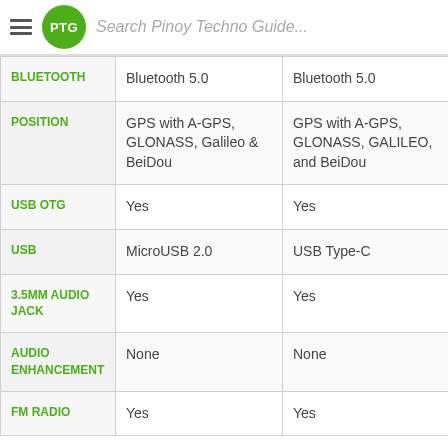Search Pinoy Techno Guide...
|  | Column 1 | Column 2 |
| --- | --- | --- |
| BLUETOOTH | Bluetooth 5.0 | Bluetooth 5.0 |
| POSITION | GPS with A-GPS, GLONASS, Galileo & BeiDou | GPS with A-GPS, GLONASS, GALILEO, and BeiDou |
| USB OTG | Yes | Yes |
| USB | MicroUSB 2.0 | USB Type-C |
| 3.5MM AUDIO JACK | Yes | Yes |
| AUDIO ENHANCEMENT | None | None |
| FM RADIO | Yes | Yes |